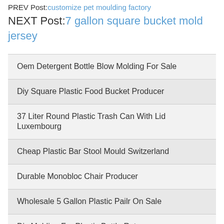PREV Post:customize pet moulding factory
NEXT Post:7 gallon square bucket mold jersey
Oem Detergent Bottle Blow Molding For Sale
Diy Square Plastic Food Bucket Producer
37 Liter Round Plastic Trash Can With Lid Luxembourg
Cheap Plastic Bar Stool Mould Switzerland
Durable Monobloc Chair Producer
Wholesale 5 Gallon Plastic Pailr On Sale
Diy Molding For Plastic Bottle Rate